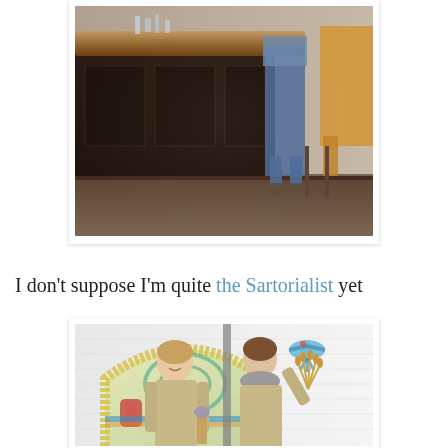[Figure (photo): Interior bar scene with dark wooden bar counter and people standing in the background, photographed from a low angle]
I don't suppose I'm quite the Sartorialist yet
[Figure (photo): Two women standing in front of a colorful mosaic wall mural featuring a church arch, birds, and decorative tile patterns. Both hold bundles of plants/grasses.]